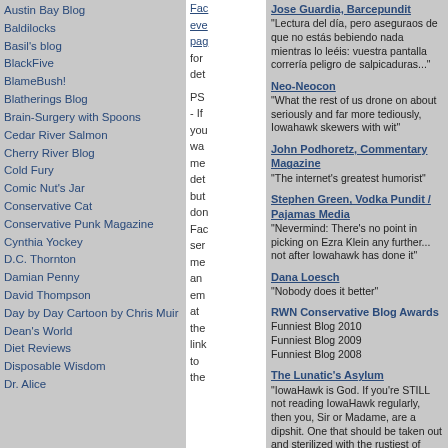Austin Bay Blog
Baldilocks
Basil's blog
BlackFive
BlameBush!
Blatherings Blog
Brain-Surgery with Spoons
Cedar River Salmon
Cherry River Blog
Cold Fury
Comic Nut's Jar
Conservative Cat
Conservative Punk Magazine
Cynthia Yockey
D.C. Thornton
Damian Penny
David Thompson
Day by Day Cartoon by Chris Muir
Dean's World
Diet Reviews
Disposable Wisdom
Dr. Alice
Fac eve pag for det PS - If you wa me det but don Fac ser me an em at the link to the
Jose Guardia, Barcepundit: "Lectura del día, pero aseguraos de que no estás bebiendo nada mientras lo leéis: vuestra pantalla correría peligro de salpicaduras..."
Neo-Neocon: "What the rest of us drone on about seriously and far more tediously, Iowahawk skewers with wit"
John Podhoretz, Commentary Magazine: "The internet's greatest humorist"
Stephen Green, Vodka Pundit / Pajamas Media: "Nevermind: There's no point in picking on Ezra Klein any further... not after Iowahawk has done it"
Dana Loesch: "Nobody does it better"
RWN Conservative Blog Awards: Funniest Blog 2010, Funniest Blog 2009, Funniest Blog 2008
The Lunatic's Asylum: "IowaHawk is God. If you're STILL not reading IowaHawk regularly, then you, Sir or Madame, are a dipshit. One that should be taken out and sterilized with the rustiest of farm implements, so that you may not pollute the gene pool with future generations of little dipshits."
Rick Moran, The American Thinker: "Outside of P.J. O'Rourke, I can't think of another conservative satirist who so consistently hits the mark than Iowahawk"